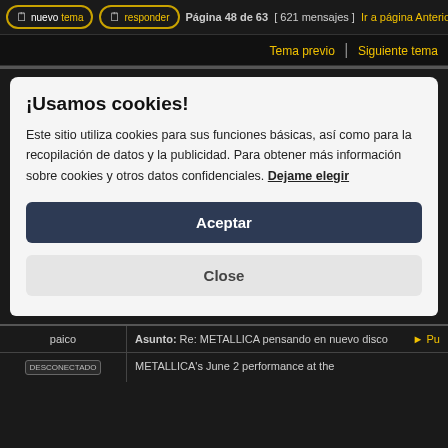nuevotema   responder   Página 48 de 63  [ 621 mensajes ]  Ir a página Anterior
Tema previo | Siguiente tema
¡Usamos cookies!
Este sitio utiliza cookies para sus funciones básicas, así como para la recopilación de datos y la publicidad. Para obtener más información sobre cookies y otros datos confidenciales. Dejame elegir
Aceptar
Close
| User | Post |
| --- | --- |
| paico | Asunto: Re: METALLICA pensando en nuevo disco   ► Pu |
| [DESCONECTADO] | METALLICA's June 2 performance at the |